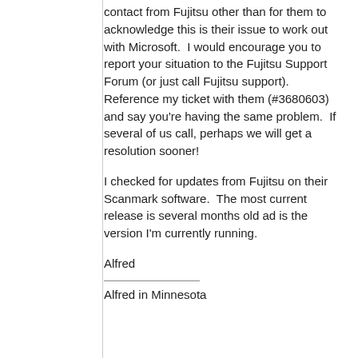contact from Fujitsu other than for them to acknowledge this is their issue to work out with Microsoft.  I would encourage you to report your situation to the Fujitsu Support Forum (or just call Fujitsu support).   Reference my ticket with them (#3680603) and say you're having the same problem.  If several of us call, perhaps we will get a resolution sooner!
I checked for updates from Fujitsu on their Scanmark software.  The most current release is several months old ad is the version I'm currently running.
Alfred
Alfred in Minnesota